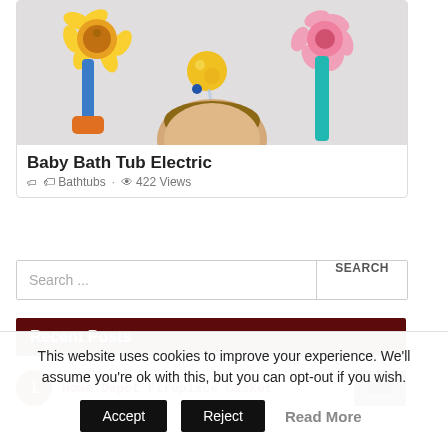[Figure (photo): Photo of colorful baby bath toy with yellow sunflower, blue and teal water sprayers, and a baby's head visible at bottom center]
Baby Bath Tub Electric
Bathtubs · 422 Views
Search ...
Recent Posts
Home Depot Fireplace Gasket
This website uses cookies to improve your experience. We'll assume you're ok with this, but you can opt-out if you wish.
Accept  Reject  Read More